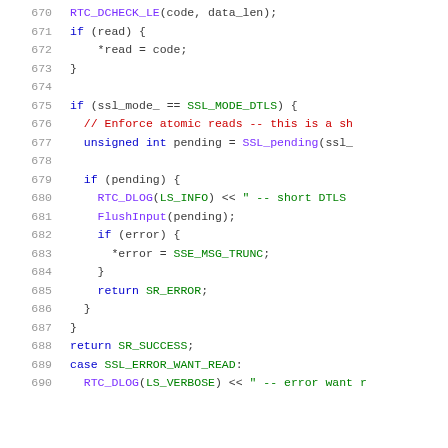[Figure (screenshot): Source code listing in C++ style, lines 670-690, showing SSL/DTLS read logic with syntax highlighting. Line numbers in gray on the left, keywords in blue, function calls in purple, comments in red, string/macro values in green.]